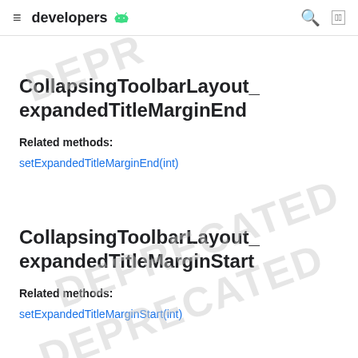≡ developers 🤖 🔍 🌐
CollapsingToolbarLayout_expandedTitleMarginEnd
Related methods:
setExpandedTitleMarginEnd(int)
CollapsingToolbarLayout_expandedTitleMarginStart
Related methods:
setExpandedTitleMarginStart(int)